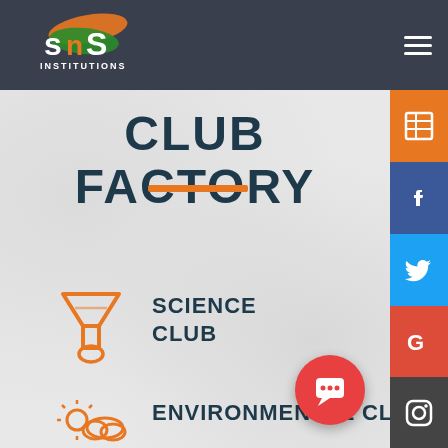[Figure (logo): SNS Institutions logo with orange and green swoosh design on dark navy header bar]
CLUB FACTORY
[Figure (illustration): Orange horizontal decorative bar divider]
[Figure (illustration): Orange funnel/filter laboratory icon for Science Club]
SCIENCE CLUB
[Figure (illustration): Orange sun and cloud icon for Environmental Club]
ENVIRONMENTAL CLUB
[Figure (illustration): Right side social media icon bar with orange table/list icon, blue Facebook icon, light blue Twitter icon, red Google icon, and dark Instagram icon]
[Figure (illustration): Red circular chat/message button floating over content]